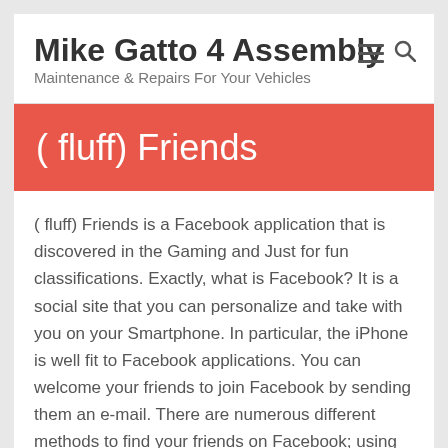Mike Gatto 4 Assembly
Maintenance & Repairs For Your Vehicles
( fluff) Friends
( fluff) Friends is a Facebook application that is discovered in the Gaming and Just for fun classifications. Exactly, what is Facebook? It is a social site that you can personalize and take with you on your Smartphone. In particular, the iPhone is well fit to Facebook applications. You can welcome your friends to join Facebook by sending them an e-mail. There are numerous different methods to find your friends on Facebook; using the contact lists on your phone and computer are simply one way to accomplish that. When you welcome your friends and share and use its material with you, Facebook is at its finest. In addition to